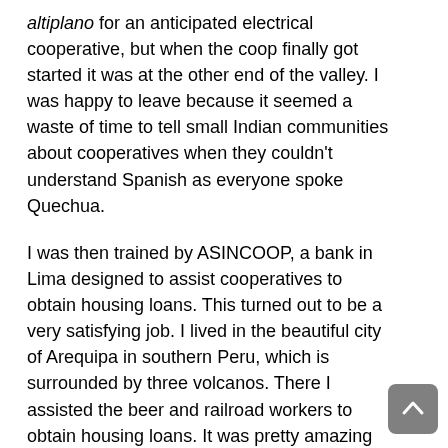altiplano for an anticipated electrical cooperative, but when the coop finally got started it was at the other end of the valley. I was happy to leave because it seemed a waste of time to tell small Indian communities about cooperatives when they couldn't understand Spanish as everyone spoke Quechua.
I was then trained by ASINCOOP, a bank in Lima designed to assist cooperatives to obtain housing loans. This turned out to be a very satisfying job. I lived in the beautiful city of Arequipa in southern Peru, which is surrounded by three volcanos. There I assisted the beer and railroad workers to obtain housing loans. It was pretty amazing to work with them and see their joy as their homes became a reality.